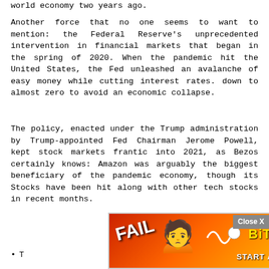world economy two years ago.
Another force that no one seems to want to mention: the Federal Reserve's unprecedented intervention in financial markets that began in the spring of 2020. When the pandemic hit the United States, the Fed unleashed an avalanche of easy money while cutting interest rates. down to almost zero to avoid an economic collapse.
The policy, enacted under the Trump administration by Trump-appointed Fed Chairman Jerome Powell, kept stock markets frantic into 2021, as Bezos certainly knows: Amazon was arguably the biggest beneficiary of the pandemic economy, though its Stocks have been hit along with other tech stocks in recent months.
T... could
[Figure (other): BitLife advertisement overlay with 'Close X' button, showing a cartoon character with flames, FAIL text, and 'START A NEW LIFE' tagline]